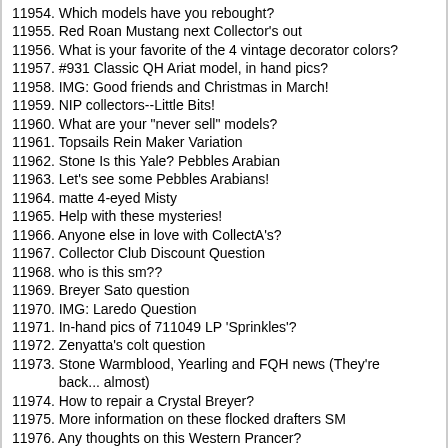11954. Which models have you rebought?
11955. Red Roan Mustang next Collector's out
11956. What is your favorite of the 4 vintage decorator colors?
11957. #931 Classic QH Ariat model, in hand pics?
11958. IMG: Good friends and Christmas in March!
11959. NIP collectors--Little Bits!
11960. What are your "never sell" models?
11961. Topsails Rein Maker Variation
11962. Stone Is this Yale? Pebbles Arabian
11963. Let's see some Pebbles Arabians!
11964. matte 4-eyed Misty
11965. Help with these mysteries!
11966. Anyone else in love with CollectA's?
11967. Collector Club Discount Question
11968. who is this sm??
11969. Breyer Sato question
11970. IMG: Laredo Question
11971. In-hand pics of 711049 LP 'Sprinkles'?
11972. Zenyatta's colt question
11973. Stone Warmblood, Yearling and FQH news (They're back... almost)
11974. How to repair a Crystal Breyer?
11975. More information on these flocked drafters SM
11976. Any thoughts on this Western Prancer?
11977. Breyer Horse Not Standing Up Right
11978. Jeanie Mellen molds
11979. Who needs a mold lift?
11980. Can anyone help Identify this Peter Stone Arabian?
11981. New BFest SR! Listo from Winters Tale!
11982. Breyer Revealing Surprise Mold?
11983. CCAK Classic Black Beauty??